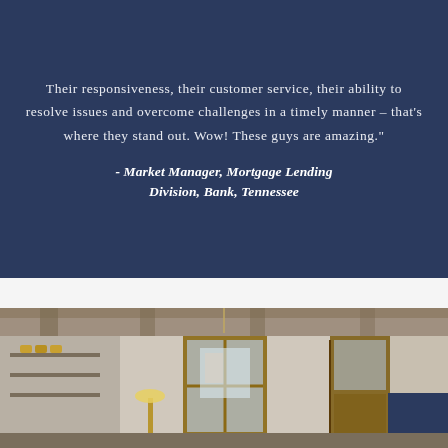Their responsiveness, their customer service, their ability to resolve issues and overcome challenges in a timely manner – that's where they stand out. Wow! These guys are amazing."
- Market Manager, Mortgage Lending Division, Bank, Tennessee
[Figure (photo): Interior of a room under renovation showing exposed ceiling beams, wooden framed doors with glass panels, shelving on the left wall, a floor lamp, and a blue accent box in the bottom right corner.]